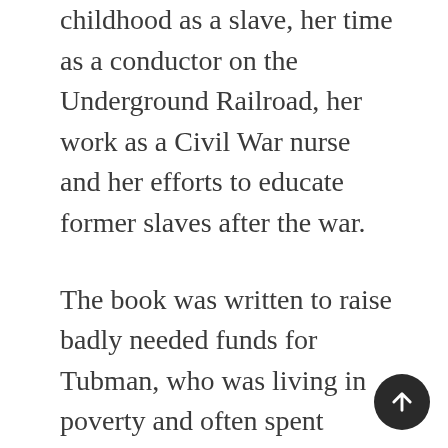childhood as a slave, her time as a conductor on the Underground Railroad, her work as a Civil War nurse and her efforts to educate former slaves after the war.
The book was written to raise badly needed funds for Tubman, who was living in poverty and often spent whatever money she had helping the less fortunate.
According to an article written by fellow Tubman biographer Earl Conrad, the publishing costs of the book were paid for by abolitionists Wendell Phillips and Gerrit